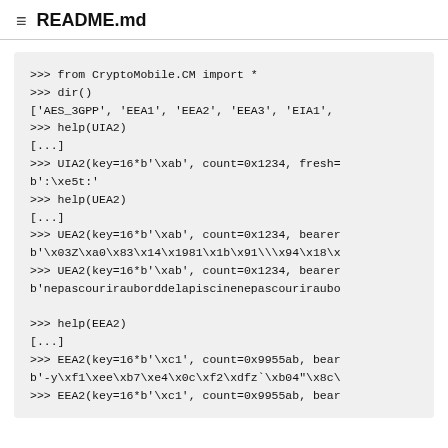README.md
>>> from CryptoMobile.CM import *
>>> dir()
['AES_3GPP', 'EEA1', 'EEA2', 'EEA3', 'EIA1',
>>> help(UIA2)
[...]
>>> UIA2(key=16*b'\xab', count=0x1234, fresh=
b':\xe5t:'
>>> help(UEA2)
[...]
>>> UEA2(key=16*b'\xab', count=0x1234, bearer
b'\x03Z\xa0\x83\x14\x1981\x1b\x91\\\x94\x18\x
>>> UEA2(key=16*b'\xab', count=0x1234, bearer
b'nepascourirauborddelapiscinenepascouriraubo

>>> help(EEA2)
[...]
>>> EEA2(key=16*b'\xc1', count=0x9955ab, bear
b'-y\xf1\xee\xb7\xe4\x0c\xf2\xdfz`\xb04"\x8c\
>>> EEA2(key=16*b'\xc1', count=0x9955ab, bear